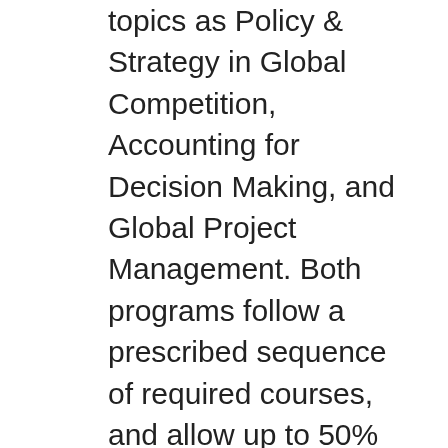topics as Policy & Strategy in Global Competition, Accounting for Decision Making, and Global Project Management. Both programs follow a prescribed sequence of required courses, and allow up to 50% credits to be transferred in. Liberty is heavily invested in online education; over 90% of students are enrolled online. Niche ranks Liberty as the #1 Best Online College in America, and U.S. News and World Report places 6 of its online degree programs in the nation's top 200 departments, including a ranking of 139th in Best Online MBA Programs. Both degrees are also recognized for high individual quality; Liberty was ranked among the nation's Best Online Master's in Project Management and Best Online MBA in Project Management for 2017 by BestColleges.com. At just $565 pre credit,